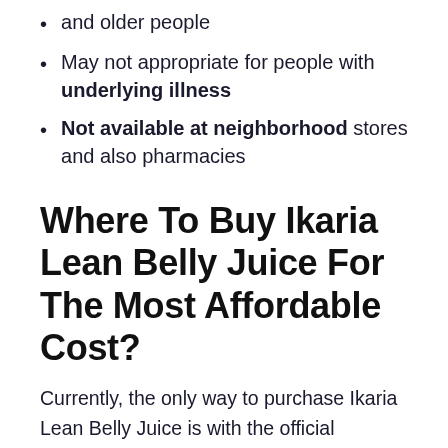and older people
May not appropriate for people with underlying illness
Not available at neighborhood stores and also pharmacies
Where To Buy Ikaria Lean Belly Juice For The Most Affordable Cost?
Currently, the only way to purchase Ikaria Lean Belly Juice is with the official website. If any other internet site, regional store, or individual supplies you the same product for a much reduced price, calling it the list price, do not think it. The